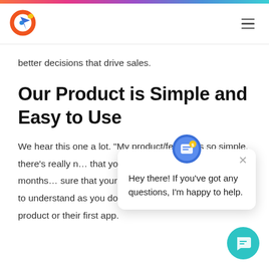[Figure (logo): Circular logo with orange ring, blue bird/arrow shape, yellow accent and blue dot]
better decisions that drive sales.
Our Product is Simple and Easy to Use
We hear this one a lot. “My product/feature is so simple, there’s really n... that your product is si... this project for months... sure that your customers will think it’s as easy to understand as you do. This could be their first te... product or their first app.
[Figure (screenshot): Chat popup widget with avatar icon and message: Hey there! If you've got any questions, I'm happy to help. With close X button and teal chat bubble button.]